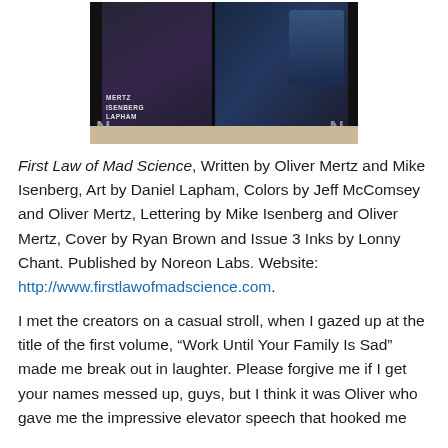[Figure (photo): Two comic book volumes of 'First Law of Mad Science' photographed on a beige surface, showing dark illustrated covers with spine text reading MERTZ, ISENBERG, LAPHAM and the letter N visible on the spines.]
First Law of Mad Science, Written by Oliver Mertz and Mike Isenberg, Art by Daniel Lapham, Colors by Jeff McComsey and Oliver Mertz, Lettering by Mike Isenberg and Oliver Mertz, Cover by Ryan Brown and Issue 3 Inks by Lonny Chant. Published by Noreon Labs. Website: http://www.firstlawofmadscience.com.
I met the creators on a casual stroll, when I gazed up at the title of the first volume, “Work Until Your Family Is Sad” made me break out in laughter. Please forgive me if I get your names messed up, guys, but I think it was Oliver who gave me the impressive elevator speech that hooked me